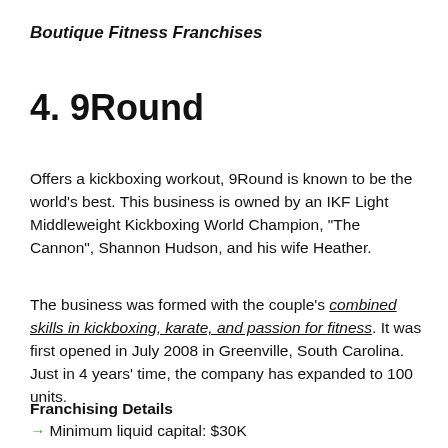Boutique Fitness Franchises
4. 9Round
Offers a kickboxing workout, 9Round is known to be the world's best. This business is owned by an IKF Light Middleweight Kickboxing World Champion, "The Cannon", Shannon Hudson, and his wife Heather.
The business was formed with the couple's combined skills in kickboxing, karate, and passion for fitness. It was first opened in July 2008 in Greenville, South Carolina. Just in 4 years' time, the company has expanded to 100 units.
Franchising Details
Minimum liquid capital: $30K